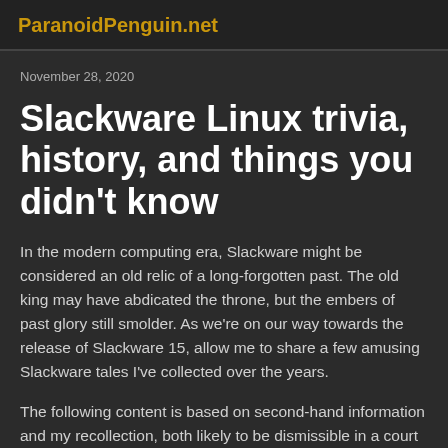ParanoidPenguin.net
November 28, 2020
Slackware Linux trivia, history, and things you didn't know
In the modern computing era, Slackware might be considered an old relic of a long-forgotten past. The old king may have abdicated the throne, but the embers of past glory still smolder. As we're on our way towards the release of Slackware 15, allow me to share a few amusing Slackware tales I've collected over the years.
The following content is based on second-hand information and my recollection, both likely to be dismissible in a court of law.